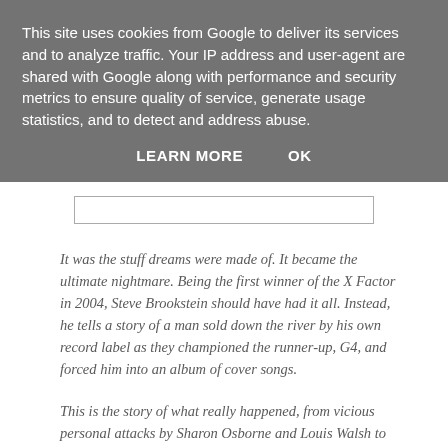This site uses cookies from Google to deliver its services and to analyze traffic. Your IP address and user-agent are shared with Google along with performance and security metrics to ensure quality of service, generate usage statistics, and to detect and address abuse.
LEARN MORE   OK
It was the stuff dreams were made of. It became the ultimate nightmare. Being the first winner of the X Factor in 2004, Steve Brookstein should have had it all. Instead, he tells a story of a man sold down the river by his own record label as they championed the runner-up, G4, and forced him into an album of cover songs.
This is the story of what really happened, from vicious personal attacks by Sharon Osborne and Louis Walsh to threats from Max Clifford about going public. A decade on, and Max Clifford is inside and severely discredited. So is Andy...